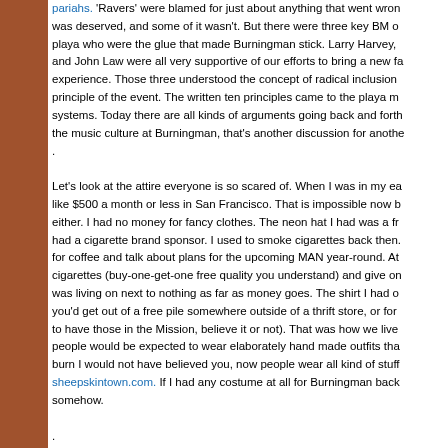pariahs. 'Ravers' were blamed for just about anything that went wrong, some of it was deserved, and some of it wasn't. But there were three key BM organizers on the playa who were the glue that made Burningman stick. Larry Harvey, and John Law were all very supportive of our efforts to bring a new face to the experience. Those three understood the concept of radical inclusion as a founding principle of the event. The written ten principles came to the playa much later, systems. Today there are all kinds of arguments going back and forth about the music culture at Burningman, that's another discussion for another time.

.
Let's look at the attire everyone is so scared of. When I was in my early days, like $500 a month or less in San Francisco. That is impossible now but not then either. I had no money for fancy clothes. The neon hat I had was a freebie that had a cigarette brand sponsor. I used to smoke cigarettes back then. We'd meet for coffee and talk about plans for the upcoming MAN year-round. At the meeting cigarettes (buy-one-get-one free quality you understand) and give one away. I was living on next to nothing as far as money goes. The shirt I had on was something you'd get out of a free pile somewhere outside of a thrift store, or for a dollar (used to have those in the Mission, believe it or not). That was how we lived. If someone people would be expected to wear elaborately hand made outfits that burn I would not have believed you, now people wear all kind of stuff from sheepskintown.com. If I had any costume at all for Burningman back somehow.

.